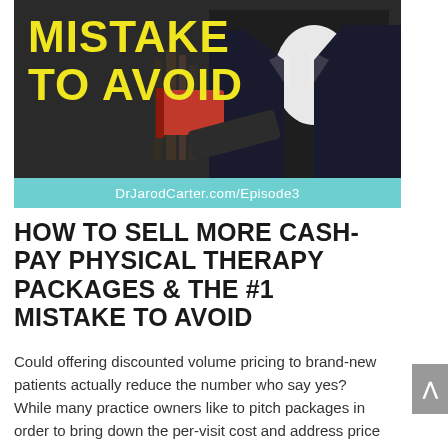[Figure (photo): Promotional podcast/blog image showing a man in a dark suit holding a red book, with yellow bold text overlay reading 'MISTAKE TO AVOID' on a dark background. A teal banner below reads 'DrJarodCarter.com/Episode3'.]
HOW TO SELL MORE CASH-PAY PHYSICAL THERAPY PACKAGES & THE #1 MISTAKE TO AVOID
Could offering discounted volume pricing to brand-new patients actually reduce the number who say yes? While many practice owners like to pitch packages in order to bring down the per-visit cost and address price objections for leads or prospective